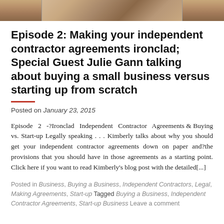[Figure (photo): Partial photo strip at the top of the page showing cropped image of person(s)]
Episode 2: Making your independent contractor agreements ironclad; Special Guest Julie Gann talking about buying a small business versus starting up from scratch
Posted on January 23, 2015
Episode 2 -?Ironclad Independent Contractor Agreements & Buying vs. Start-up Legally speaking . . . Kimberly talks about why you should get your independent contractor agreements down on paper and?the provisions that you should have in those agreements as a starting point. Click here if you want to read Kimberly's blog post with the detailed[...]
Posted in Business, Buying a Business, Independent Contractors, Legal, Making Agreements, Start-up Tagged Buying a Business, Independent Contractor Agreements, Start-up Business Leave a comment